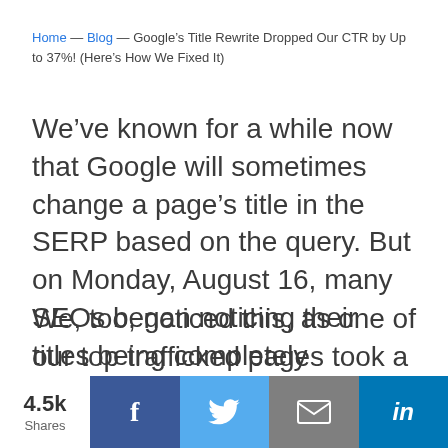Home — Blog — Google's Title Rewrite Dropped Our CTR by Up to 37%! (Here's How We Fixed It)
We've known for a while now that Google will sometimes change a page's title in the SERP based on the query. But on Monday, August 16, many SEOs began noticing their titles being completely rewritten, in a detrimental way.
We, too, noticed this, as one of our top trafficked pages took a big hit from the change.
4.5k Shares [Facebook] [Twitter] [Email] [LinkedIn]